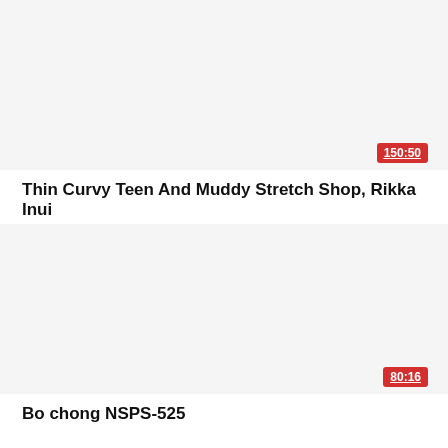[Figure (screenshot): Video thumbnail placeholder (light gray background) for first video]
150:50
Thin Curvy Teen And Muddy Stretch Shop, Rikka Inui
[Figure (screenshot): Video thumbnail placeholder (light gray background) for second video]
80:16
Bo chong NSPS-525